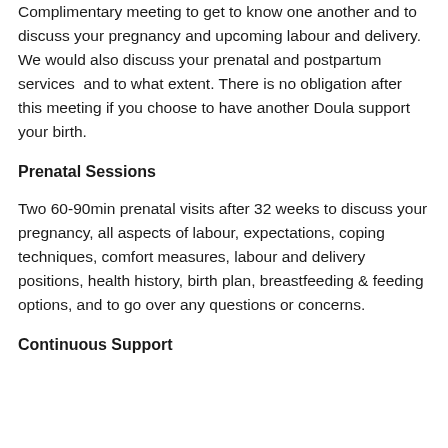Complimentary meeting to get to know one another and to discuss your pregnancy and upcoming labour and delivery. We would also discuss your prenatal and postpartum services  and to what extent. There is no obligation after this meeting if you choose to have another Doula support your birth.
Prenatal Sessions
Two 60-90min prenatal visits after 32 weeks to discuss your pregnancy, all aspects of labour, expectations, coping techniques, comfort measures, labour and delivery positions, health history, birth plan, breastfeeding & feeding options, and to go over any questions or concerns.
Continuous Support